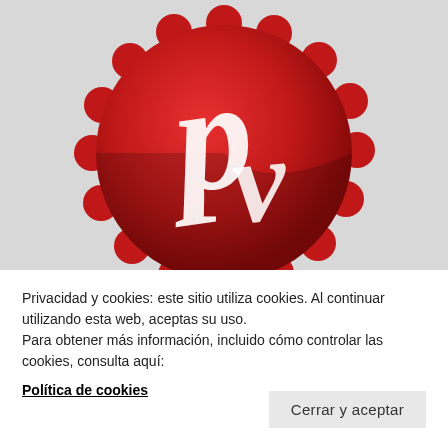[Figure (logo): Red scalloped circle badge with stylized white 'pv' script lettering — logo for Producciones Vidal or similar]
Producciones Vidal
Privacidad y cookies: este sitio utiliza cookies. Al continuar utilizando esta web, aceptas su uso.
Para obtener más información, incluido cómo controlar las cookies, consulta aquí:
Política de cookies
Cerrar y aceptar